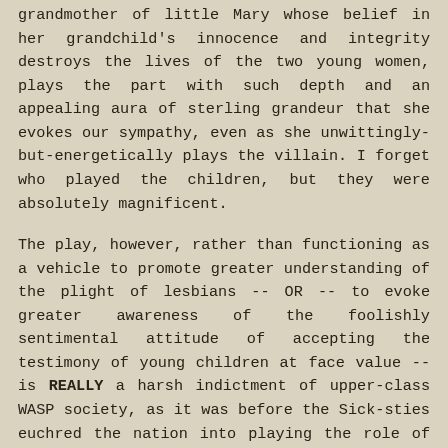grandmother of little Mary whose belief in her grandchild's innocence and integrity destroys the lives of the two young women, plays the part with such depth and an appealing aura of sterling grandeur that she evokes our sympathy, even as she unwittingly-but-energetically plays the villain. I forget who played the children, but they were absolutely magnificent.
The play, however, rather than functioning as a vehicle to promote greater understanding of the plight of lesbians -- OR -- to evoke greater awareness of the foolishly sentimental attitude of accepting the testimony of young children at face value -- is REALLY a harsh indictment of upper-class WASP society, as it was before the Sick-sties euchred the nation into playing the role of Humpty Dumpty.
It always seemed obvious to me that Lillian Hellmann's true motive in writing her admittedly gripping dramas was to give vent to her deep and abiding hatred of America as it was in her time.
Hellmann was, of course a leftist, and did her part along